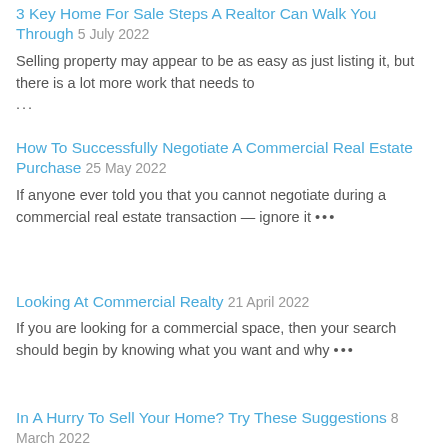3 Key Home For Sale Steps A Realtor Can Walk You Through 5 July 2022
Selling property may appear to be as easy as just listing it, but there is a lot more work that needs to …
How To Successfully Negotiate A Commercial Real Estate Purchase 25 May 2022
If anyone ever told you that you cannot negotiate during a commercial real estate transaction — ignore it …
Looking At Commercial Realty 21 April 2022
If you are looking for a commercial space, then your search should begin by knowing what you want and why …
In A Hurry To Sell Your Home? Try These Suggestions 8 March 2022